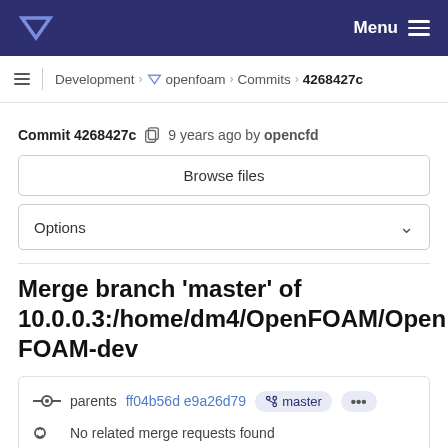Menu
Development › openfoam › Commits › 4268427c
Commit 4268427c  9 years ago by opencfd
Browse files
Options
Merge branch 'master' of 10.0.0.3:/home/dm4/OpenFOAM/OpenFOAM-dev
parents ff04b56d e9a26d79  master  ...
No related merge requests found